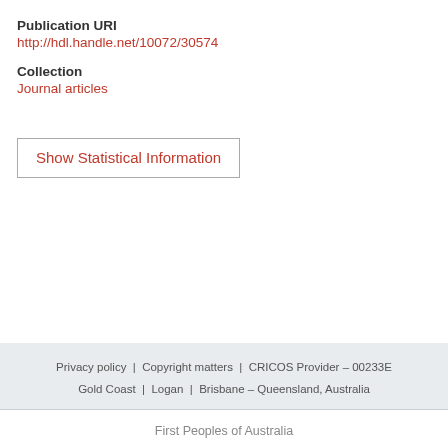Publication URI
http://hdl.handle.net/10072/30574
Collection
Journal articles
Show Statistical Information
Privacy policy | Copyright matters | CRICOS Provider – 00233E
Gold Coast | Logan | Brisbane – Queensland, Australia
First Peoples of Australia